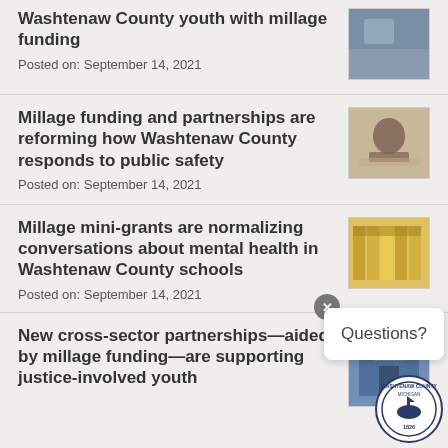Washtenaw County youth with millage funding
Posted on: September 14, 2021
[Figure (photo): Thumbnail photo related to Washtenaw County youth article]
Millage funding and partnerships are reforming how Washtenaw County responds to public safety
Posted on: September 14, 2021
[Figure (photo): Thumbnail photo of hands related to public safety article]
Millage mini-grants are normalizing conversations about mental health in Washtenaw County schools
Posted on: September 14, 2021
[Figure (photo): Thumbnail photo of educational materials for mental health article]
New cross-sector partnerships—aided by millage funding—are supporting justice-involved youth
[Figure (photo): Thumbnail photo of building for justice-involved youth article]
[Figure (logo): Washtenaw County Michigan seal, established 1826]
Questions?